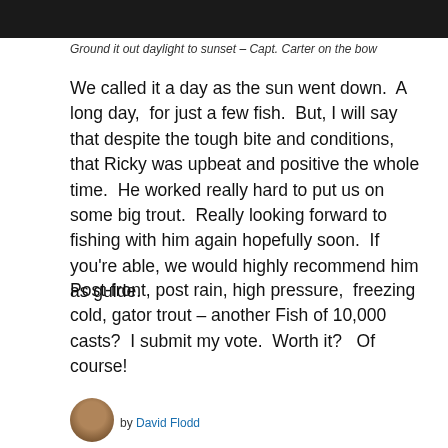[Figure (photo): Dark photograph strip at top of page, showing outdoor scene]
Ground it out daylight to sunset – Capt. Carter on the bow
We called it a day as the sun went down.  A long day,  for just a few fish.  But, I will say that despite the tough bite and conditions,  that Ricky was upbeat and positive the whole time.  He worked really hard to put us on some big trout.  Really looking forward to fishing with him again hopefully soon.  If you're able, we would highly recommend him as guide.
Post-front, post rain, high pressure,  freezing cold, gator trout – another Fish of 10,000 casts?  I submit my vote.  Worth it?   Of course!
by David Flodd